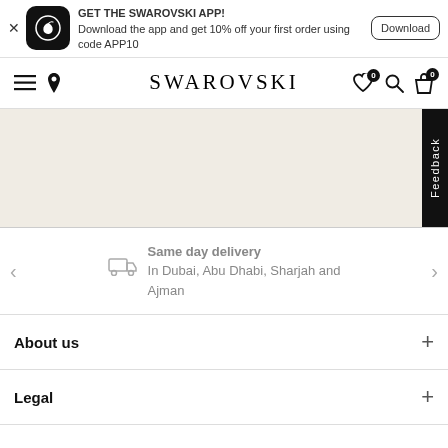GET THE SWAROVSKI APP! Download the app and get 10% off your first order using code APP10
[Figure (logo): Swarovski swan logo in white on black rounded square]
Download
SWAROVSKI
[Figure (illustration): Beige/cream hero section with black Feedback tab on right side]
Same day delivery
In Dubai, Abu Dhabi, Sharjah and Ajman
About us
Legal